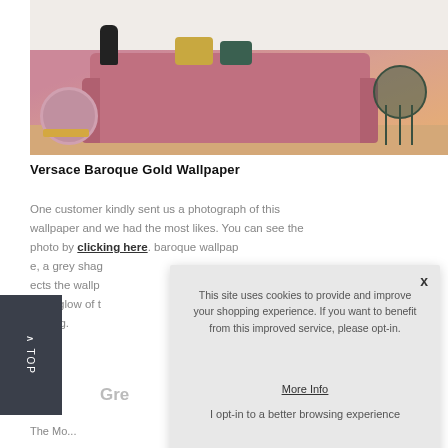[Figure (photo): Interior photo showing a pink velvet sofa with gold and green pillows, a round pink/lilac ottoman with gold band, a dark green side table, and wooden parquet floor]
Versace Baroque Gold Wallpaper
One customer kindly sent us a photograph of this wallpaper and we had the most likes. You can see the photo by clicking here. baroque wallpap... e, a grey shag... ects the wallp... soft glow of t... inviting.
Gre...
This site uses cookies to provide and improve your shopping experience. If you want to benefit from this improved service, please opt-in.
More Info
I opt-in to a better browsing experience
ACCEPT COOKIES